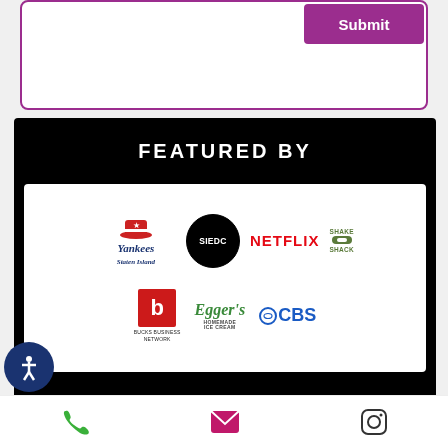[Figure (screenshot): Web form with purple border and Submit button]
FEATURED BY
[Figure (logo): Grid of partner/featured logos: Staten Island Yankees, SIEDC, Netflix, Shake Shack, Bucks Business Network, Egger's Ice Cream, CBS]
(718) 668-2600
[Figure (infographic): Bottom navigation bar with phone, email, and Instagram icons, and accessibility button]